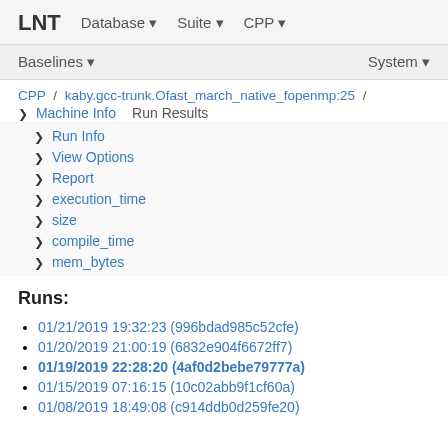LNT  Database ▾  Suite ▾  CPP ▾
Baselines ▾  System ▾
CPP / kaby.gcc-trunk.Ofast_march_native_fopenmp:25 /
❯ Machine Info
Run Results
❯ Run Info
❯ View Options
❯ Report
❯ execution_time
❯ size
❯ compile_time
❯ mem_bytes
Runs:
01/21/2019 19:32:23 (996bdad985c52cfe)
01/20/2019 21:00:19 (6832e904f6672ff7)
01/19/2019 22:28:20 (4af0d2bebe79777a)
01/15/2019 07:16:15 (10c02abb9f1cf60a)
01/08/2019 18:49:08 (c914ddb0d259fe20)